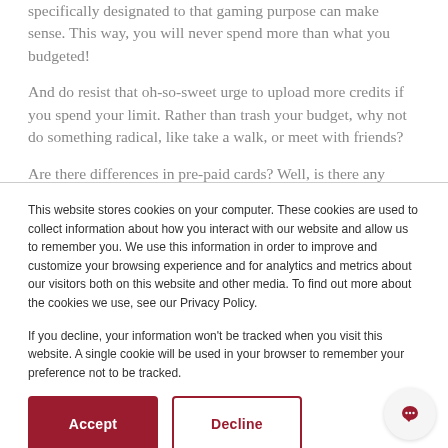specifically designated to that gaming purpose can make sense. This way, you will never spend more than what you budgeted!
And do resist that oh-so-sweet urge to upload more credits if you spend your limit. Rather than trash your budget, why not do something radical, like take a walk, or meet with friends?
Are there differences in pre-paid cards? Well, is there any
This website stores cookies on your computer. These cookies are used to collect information about how you interact with our website and allow us to remember you. We use this information in order to improve and customize your browsing experience and for analytics and metrics about our visitors both on this website and other media. To find out more about the cookies we use, see our Privacy Policy.
If you decline, your information won't be tracked when you visit this website. A single cookie will be used in your browser to remember your preference not to be tracked.